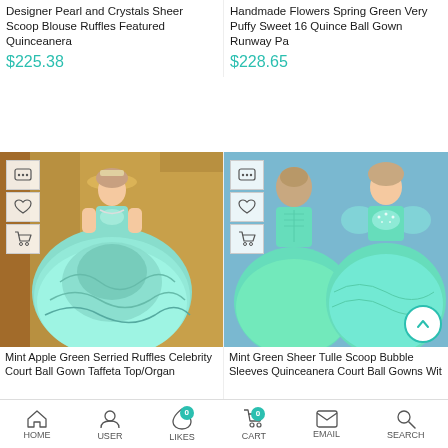Designer Pearl and Crystals Sheer Scoop Blouse Ruffles Featured Quinceanera
$225.38
Handmade Flowers Spring Green Very Puffy Sweet 16 Quince Ball Gown Runway Pa
$228.65
[Figure (photo): Model wearing mint/aqua ball gown with ruffled skirt and crystal bodice, seated in ornate gold room]
[Figure (photo): Two views of mint green ball gown with sheer bubble sleeves and crystal bodice]
Mint Apple Green Serried Ruffles Celebrity Court Ball Gown Taffeta Top/Organ
Mint Green Sheer Tulle Scoop Bubble Sleeves Quinceanera Court Ball Gowns Wit
HOME  USER  LIKES  CART  EMAIL  SEARCH